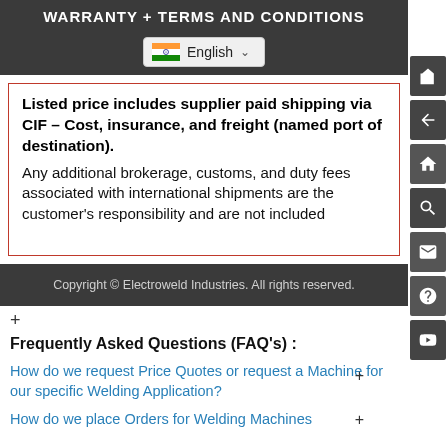WARRANTY + TERMS and CONDITIONS
English
Listed price includes supplier paid shipping via CIF – Cost, insurance, and freight (named port of destination).
Any additional brokerage, customs, and duty fees associated with international shipments are the customer's responsibility and are not included
Copyright © Electroweld Industries. All rights reserved.
+
Frequently Asked Questions (FAQ's) :
How do we request Price Quotes or request a Machine for our specific Welding Application?
How do we place Orders for Welding Machines